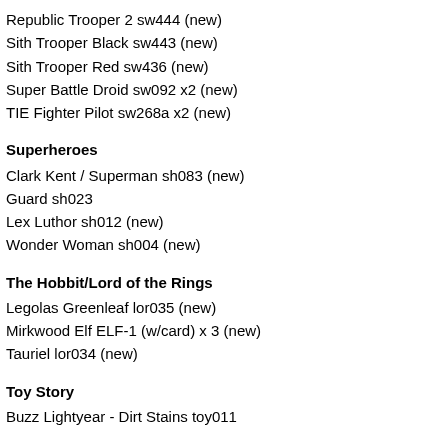Republic Trooper 2 sw444 (new)
Sith Trooper Black sw443 (new)
Sith Trooper Red sw436 (new)
Super Battle Droid sw092 x2 (new)
TIE Fighter Pilot sw268a x2 (new)
Superheroes
Clark Kent / Superman sh083 (new)
Guard sh023
Lex Luthor sh012 (new)
Wonder Woman sh004 (new)
The Hobbit/Lord of the Rings
Legolas Greenleaf lor035 (new)
Mirkwood Elf ELF-1 (w/card) x 3 (new)
Tauriel lor034 (new)
Toy Story
Buzz Lightyear - Dirt Stains toy011